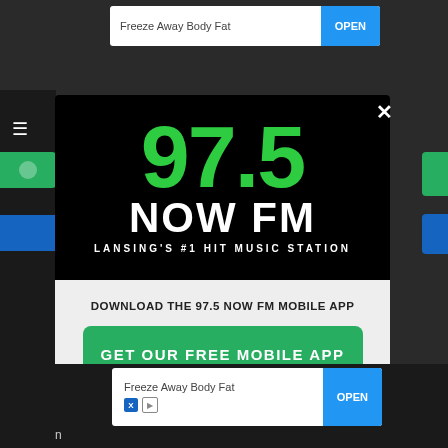[Figure (screenshot): Mobile app download popup for 97.5 NOW FM radio station. Black upper section shows the 97.5 NOW FM logo with tagline 'Lansing's #1 Hit Music Station'. White lower section has download prompt text, a green 'GET OUR FREE MOBILE APP' button, and Amazon Alexa listening option. Background shows a partially visible webpage with an ad banner 'Freeze Away Body Fat' with an OPEN button.]
DOWNLOAD THE 97.5 NOW FM MOBILE APP
GET OUR FREE MOBILE APP
Also listen on:  amazon alexa